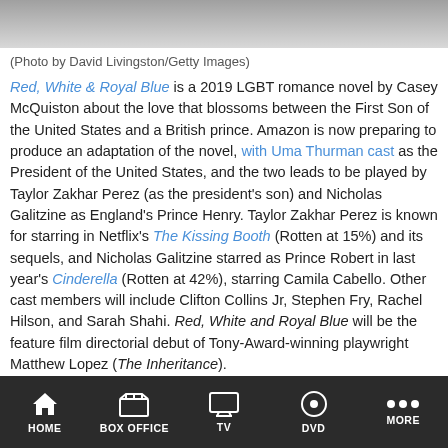[Figure (photo): Top portion of a person wearing a white shirt/suit, cropped photo]
(Photo by David Livingston/Getty Images)
Red, White & Royal Blue is a 2019 LGBT romance novel by Casey McQuiston about the love that blossoms between the First Son of the United States and a British prince. Amazon is now preparing to produce an adaptation of the novel, with Uma Thurman cast as the President of the United States, and the two leads to be played by Taylor Zakhar Perez (as the president's son) and Nicholas Galitzine as England's Prince Henry. Taylor Zakhar Perez is known for starring in Netflix's The Kissing Booth (Rotten at 15%) and its sequels, and Nicholas Galitzine starred as Prince Robert in last year's Cinderella (Rotten at 42%), starring Camila Cabello. Other cast members will include Clifton Collins Jr, Stephen Fry, Rachel Hilson, and Sarah Shahi. Red, White and Royal Blue will be the feature film directorial debut of Tony-Award-winning playwright Matthew Lopez (The Inheritance).
HOME | BOX OFFICE | TV | DVD | MORE